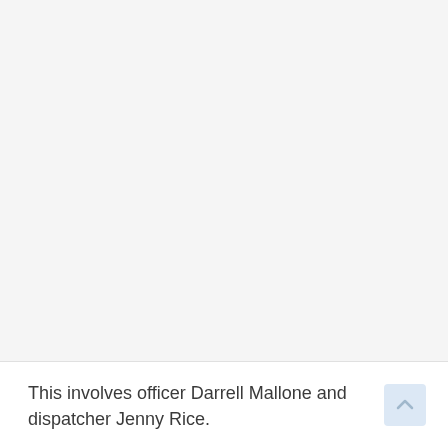This involves officer Darrell Mallone and dispatcher Jenny Rice.